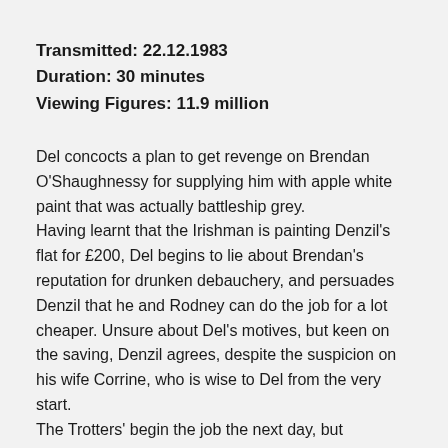Transmitted: 22.12.1983
Duration: 30 minutes
Viewing Figures: 11.9 million
Del concocts a plan to get revenge on Brendan O'Shaughnessy for supplying him with apple white paint that was actually battleship grey.
Having learnt that the Irishman is painting Denzil's flat for £200, Del begins to lie about Brendan's reputation for drunken debauchery, and persuades Denzil that he and Rodney can do the job for a lot cheaper. Unsure about Del's motives, but keen on the saving, Denzil agrees, despite the suspicion on his wife Corrine, who is wise to Del from the very start.
The Trotters' begin the job the next day, but problems arise when Rodney leaves a kettle on the boil and steams the whole apartment. As well as forking out for a new